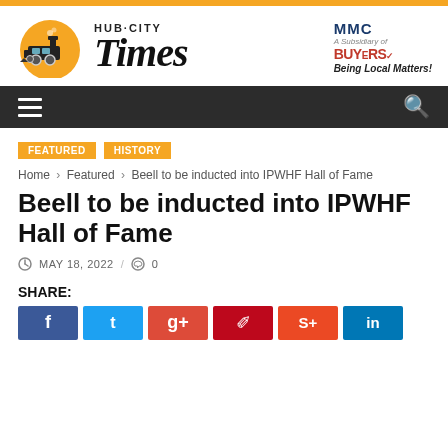Hub-City Times — MMC | A Subsidiary of BUYERS | Being Local Matters!
FEATURED | HISTORY
Home › Featured › Beell to be inducted into IPWHF Hall of Fame
Beell to be inducted into IPWHF Hall of Fame
MAY 18, 2022 / 0
SHARE:
Social share buttons: Facebook, Twitter, Google+, Pinterest, StumbleUpon, LinkedIn